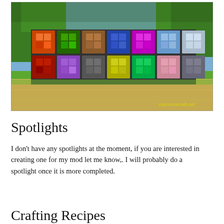[Figure (photo): Minecraft screenshot showing a wall of colored stained glass blocks in various colors (orange, red, green, brown, blue, purple, magenta, white, light blue, gray, dark gray, pink, lime, yellow), with trees and sandy ground visible in the background. Yellow text watermark in bottom right corner.]
Spotlights
I don't have any spotlights at the moment, if you are interested in creating one for my mod let me know,. I will probably do a spotlight once it is more completed.
Crafting Recipes